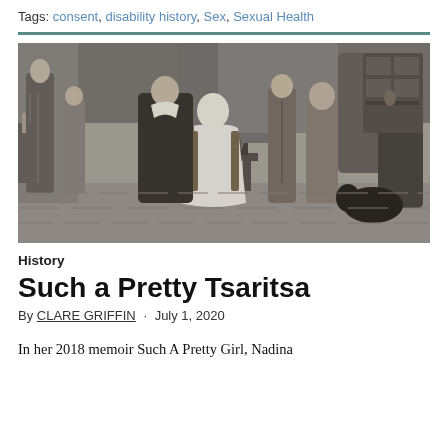Tags: consent, disability history, Sex, Sexual Health
[Figure (illustration): Black and white historical painting showing a group of robed figures in an interior scene, with a woman seated centrally in white robes and several men in long coats around her, shelves and furnishings visible in the background.]
History
Such a Pretty Tsaritsa
By CLARE GRIFFIN · July 1, 2020
In her 2018 memoir Such A Pretty Girl, Nadina